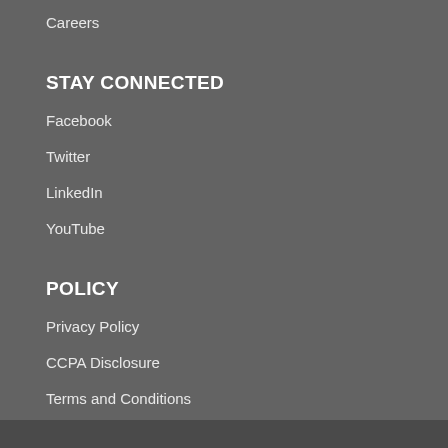Careers
STAY CONNECTED
Facebook
Twitter
LinkedIn
YouTube
POLICY
Privacy Policy
CCPA Disclosure
Terms and Conditions
Website Terms & Conditions of Use
Safe Harbor Statement